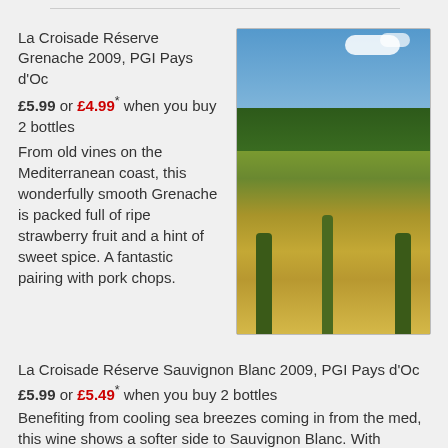La Croisade Réserve Grenache 2009, PGI Pays d'Oc
£5.99 or £4.99* when you buy 2 bottles
From old vines on the Mediterranean coast, this wonderfully smooth Grenache is packed full of ripe strawberry fruit and a hint of sweet spice. A fantastic pairing with pork chops.
[Figure (photo): Photograph of rows of grapevines in a vineyard on the Mediterranean coast, with trees in the background and a blue sky with white clouds above.]
La Croisade Réserve Sauvignon Blanc 2009, PGI Pays d'Oc
£5.99 or £5.49* when you buy 2 bottles
Benefiting from cooling sea breezes coming in from the med, this wine shows a softer side to Sauvignon Blanc. With